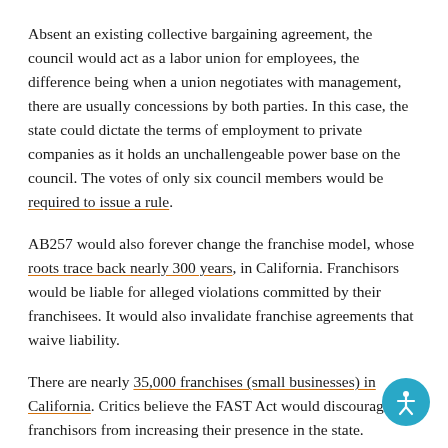Absent an existing collective bargaining agreement, the council would act as a labor union for employees, the difference being when a union negotiates with management, there are usually concessions by both parties. In this case, the state could dictate the terms of employment to private companies as it holds an unchallengeable power base on the council. The votes of only six council members would be required to issue a rule.
AB257 would also forever change the franchise model, whose roots trace back nearly 300 years, in California. Franchisors would be liable for alleged violations committed by their franchisees. It would also invalidate franchise agreements that waive liability.
There are nearly 35,000 franchises (small businesses) in California. Critics believe the FAST Act would discourage franchisors from increasing their presence in the state.